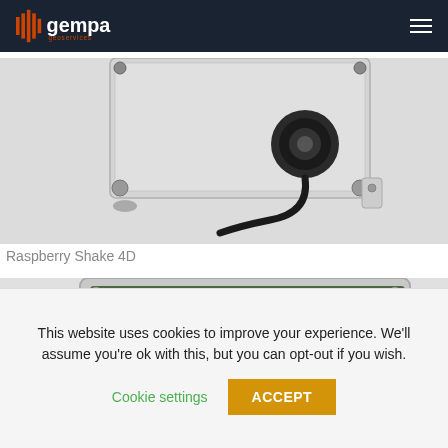gempa geoservices
[Figure (photo): Close-up photo of the Raspberry Shake 4D seismograph device — a compact metal box with a black circular cable connector, mounted on rubber feet, on a light grey background.]
Raspberry Shake 4D
[Figure (photo): Partial photo of a circuit board / electronic device in a clear plastic enclosure, showing chipsets and components on a green PCB, on a white background.]
This website uses cookies to improve your experience. We'll assume you're ok with this, but you can opt-out if you wish.
Cookie settings
ACCEPT